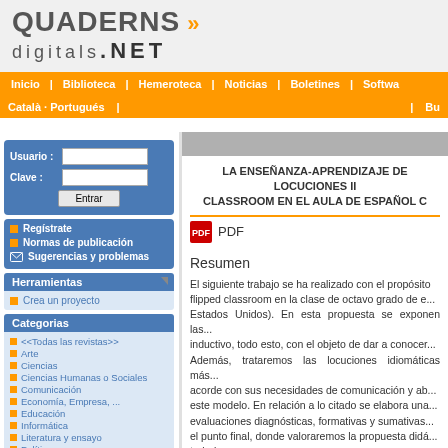QUADERNS digitals.NET
Inicio | Biblioteca | Hemeroteca | Noticias | Boletines | Softwa
Català · Portugués | Bu
Regístrate
Normas de publicación
Sugerencias y problemas
Herramientas
Crea un proyecto
Categorias
<<Todas las revistas>>
Arte
Ciencias
Ciencias Humanas o Sociales
Comunicación
Economía, Empresa, ...
Educación
Informática
Literatura y ensayo
Política
Psicología
LA ENSEÑANZA-APRENDIZAJE DE LOCUCIONES II... CLASSROOM EN EL AULA DE ESPAÑOL C...
PDF
Resumen
El siguiente trabajo se ha realizado con el propósito... flipped classroom en la clase de octavo grado de e... Estados Unidos). En esta propuesta se exponen las... inductivo, todo esto, con el objeto de dar a conocer... Además, trataremos las locuciones idiomáticas más... acorde con sus necesidades de comunicación y ab... este modelo. En relación a lo citado se elabora una... evaluaciones diagnósticas, formativas y sumativas... el punto final, donde valoraremos la propuesta didá... trabajo.